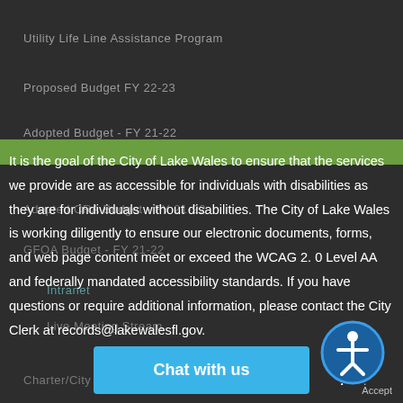Utility Life Line Assistance Program
Proposed Budget FY 22-23
Adopted Budget - FY 21-22
Adopted CRA Budget - FY 21-22
GFOA Budget - FY 21-22
Intranet
Live Meeting Stream
It is the goal of the City of Lake Wales to ensure that the services we provide are as accessible for individuals with disabilities as they are for individuals without disabilities. The City of Lake Wales is working diligently to ensure our electronic documents, forms, and web page content meet or exceed the WCAG 2. 0 Level AA and federally mandated accessibility standards. If you have questions or require additional information, please contact the City Clerk at records@lakewalesfl.gov.
Charter/City Co...